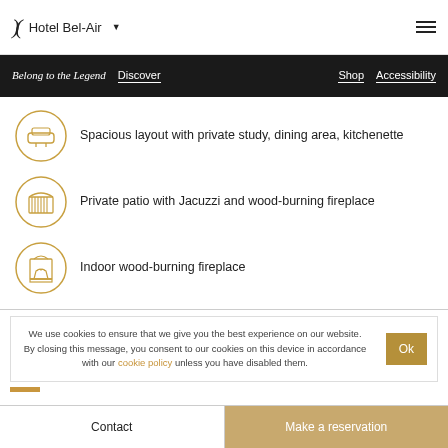Hotel Bel-Air
Belong to the Legend  Discover  Shop  Accessibility
Spacious layout with private study, dining area, kitchenette
Private patio with Jacuzzi and wood-burning fireplace
Indoor wood-burning fireplace
We use cookies to ensure that we give you the best experience on our website. By closing this message, you consent to our cookies on this device in accordance with our cookie policy unless you have disabled them.
Contact  |  Make a reservation